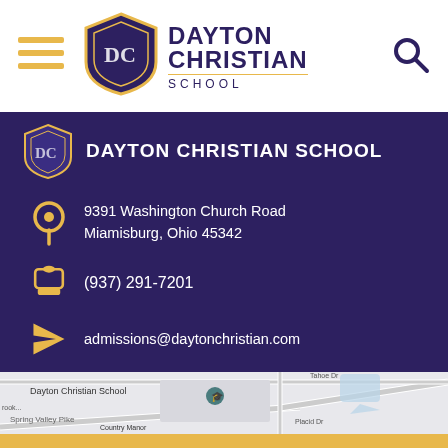[Figure (logo): Dayton Christian School navigation bar with hamburger menu, shield logo, school name, and search icon]
DAYTON CHRISTIAN SCHOOL
9391 Washington Church Road
Miamisburg, Ohio 45342
(937) 291-7201
admissions@daytonchristian.com
[Figure (map): Google Maps screenshot showing location of Dayton Christian School at 9391 Washington Church Road, Miamisburg, Ohio, with surrounding streets including Spring Valley Pike, Tahoe Dr, Placid Dr, Lago Mar Dr, and nearby Country Manor Apartments]